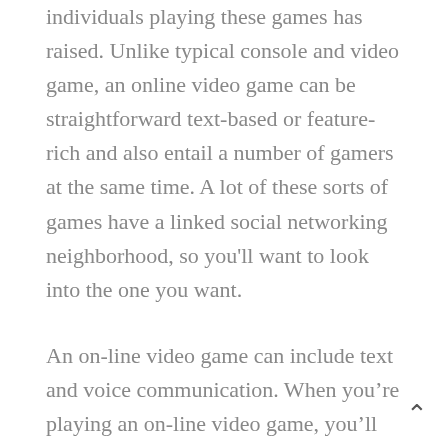individuals playing these games has raised. Unlike typical console and video game, an online video game can be straightforward text-based or feature-rich and also entail a number of gamers at the same time. A lot of these sorts of games have a linked social networking neighborhood, so you'll want to look into the one you want.
An on-line video game can include text and voice communication. When you’re playing an on-line video game, you’ll be connecting with other players similarly as a genuine person. It is very important to bear in mind that an interactive environment can result in dangerous communications. You must never share any kind of personal details with any person in an on the internet video game. As well as don’t accept fulfill offline! To